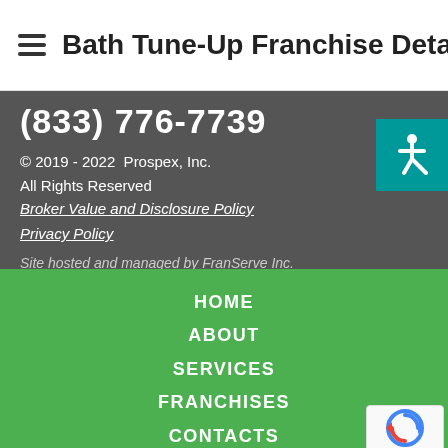Bath Tune-Up Franchise Details
(833) 776-7739
© 2019 - 2022  Prospex, Inc.
All Rights Reserved
Broker Value and Disclosure Policy
Privacy Policy

Site hosted and managed by FranServe Inc.
[Figure (illustration): Accessibility icon: white wheelchair user symbol on teal/dark cyan background]
HOME
ABOUT
SERVICES
FRANCHISES
CONTACTS
[Figure (logo): Google reCAPTCHA badge with circular arrow logo and Privacy - Terms text]